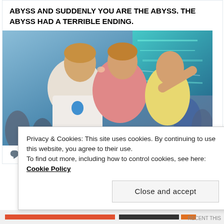ABYSS AND SUDDENLY YOU ARE THE ABYSS. THE ABYSS HAD A TERRIBLE ENDING.
[Figure (photo): Photo of two young people at a music festival or concert, appearing to kiss or interact closely. A young man in a white t-shirt and a young woman in a pink top, with another woman in yellow visible beside them. A blue-lit screen is visible in the background.]
♡ 12
Privacy & Cookies: This site uses cookies. By continuing to use this website, you agree to their use.
To find out more, including how to control cookies, see here: Cookie Policy
Close and accept